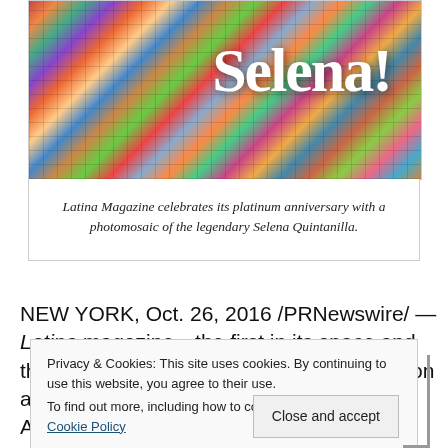[Figure (photo): Photomosaic image of Selena Quintanilla with the word 'Selena!' written in white cursive script overlaid on top. The mosaic is made up of many small photos in various colors.]
Latina Magazine celebrates its platinum anniversary with a photomosaic of the legendary Selena Quintanilla.
NEW YORK, Oct. 26, 2016 /PRNewswire/ — Latina magazine—the first in its space and the number one destination for the 35 million acculturated, second and third generation American...
Privacy & Cookies: This site uses cookies. By continuing to use this website, you agree to their use.
To find out more, including how to control cookies, see here: Cookie Policy